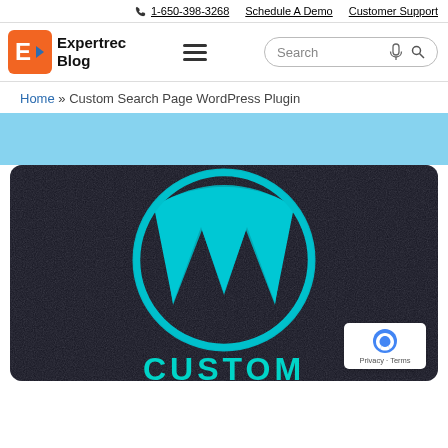📞 1-650-398-3268  Schedule A Demo  Customer Support
[Figure (logo): Expertrec Blog logo with orange/red E icon and blue arrow]
≡  Search 🎤 🔍
Home » Custom Search Page WordPress Plugin
[Figure (photo): WordPress logo in teal/cyan on dark textured background, with the word CUSTOM partially visible at bottom. A reCAPTCHA badge with Privacy and Terms text is overlaid in bottom right corner.]